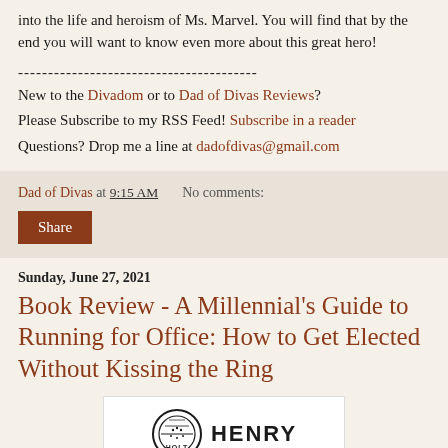into the life and heroism of Ms. Marvel. You will find that by the end you will want to know even more about this great hero!
----------------------------------------
New to the Divadom or to Dad of Divas Reviews? Please Subscribe to my RSS Feed! Subscribe in a reader Questions? Drop me a line at dadofdivas@gmail.com
Dad of Divas at 9:15 AM   No comments:
Share
Sunday, June 27, 2021
Book Review - A Millennial's Guide to Running for Office: How to Get Elected Without Kissing the Ring
[Figure (logo): Henry publisher logo — circular emblem with stars and lines above the word HENRY in bold caps]